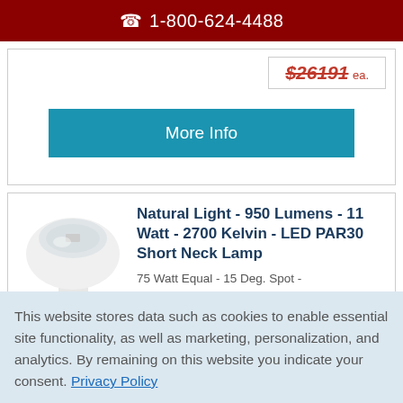1-800-624-4488
$26191 ea.
More Info
Natural Light - 950 Lumens - 11 Watt - 2700 Kelvin - LED PAR30 Short Neck Lamp
75 Watt Equal - 15 Deg. Spot - Dimmable - 95 CRI - 120 Volt
This website stores data such as cookies to enable essential site functionality, as well as marketing, personalization, and analytics. By remaining on this website you indicate your consent. Privacy Policy